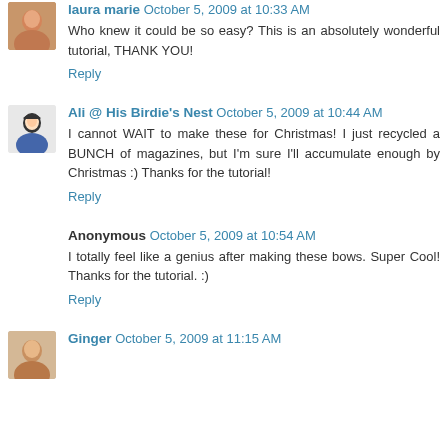laura marie October 5, 2009 at 10:33 AM
Who knew it could be so easy? This is an absolutely wonderful tutorial, THANK YOU!
Reply
Ali @ His Birdie's Nest October 5, 2009 at 10:44 AM
I cannot WAIT to make these for Christmas! I just recycled a BUNCH of magazines, but I'm sure I'll accumulate enough by Christmas :) Thanks for the tutorial!
Reply
Anonymous October 5, 2009 at 10:54 AM
I totally feel like a genius after making these bows. Super Cool! Thanks for the tutorial. :)
Reply
Ginger October 5, 2009 at 11:15 AM